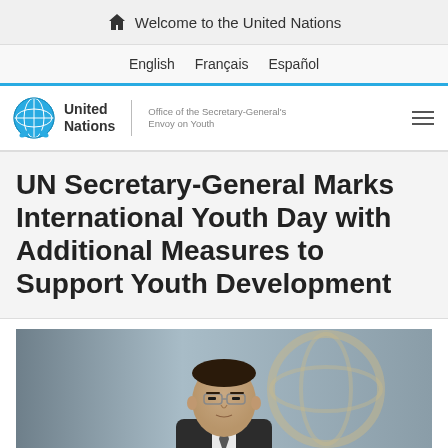Welcome to the United Nations
English  Français  Español
United Nations | Office of the Secretary-General's Envoy on Youth
UN Secretary-General Marks International Youth Day with Additional Measures to Support Youth Development
[Figure (photo): Photograph of UN Secretary-General Ban Ki-moon standing in front of the UN emblem]